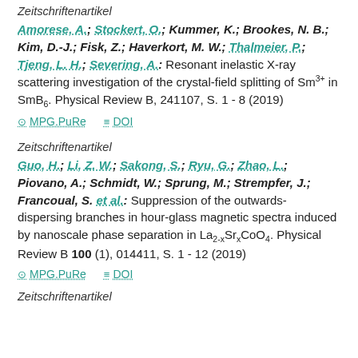Zeitschriftenartikel
Amorese, A.; Stockert, O.; Kummer, K.; Brookes, N. B.; Kim, D.-J.; Fisk, Z.; Haverkort, M. W.; Thalmeier, P.; Tjeng, L. H.; Severing, A.: Resonant inelastic X-ray scattering investigation of the crystal-field splitting of Sm3+ in SmB6. Physical Review B, 241107, S. 1 - 8 (2019)
MPG.PuRe   DOI
Zeitschriftenartikel
Guo, H.; Li, Z. W.; Sakong, S.; Ryu, G.; Zhao, L.; Piovano, A.; Schmidt, W.; Sprung, M.; Strempfer, J.; Francoual, S. et al.: Suppression of the outwards-dispersing branches in hour-glass magnetic spectra induced by nanoscale phase separation in La2-xSrxCoO4. Physical Review B 100 (1), 014411, S. 1 - 12 (2019)
MPG.PuRe   DOI
Zeitschriftenartikel